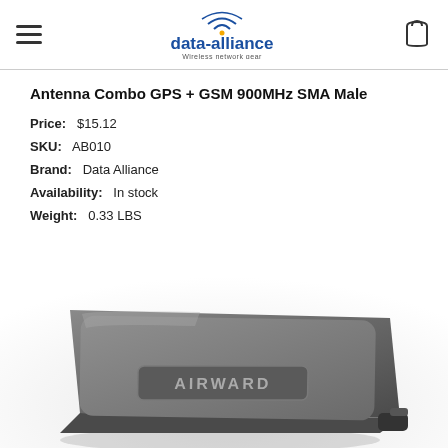data-alliance Wireless network gear
Antenna Combo GPS + GSM 900MHz SMA Male
Price: $15.12
SKU: AB010
Brand: Data Alliance
Availability: In stock
Weight: 0.33 LBS
[Figure (photo): Photo of an AIRWARD branded GPS+GSM antenna device, dark grey rectangular box with rounded corners, AIRWARD text embossed on top surface, viewed from above at a slight angle.]